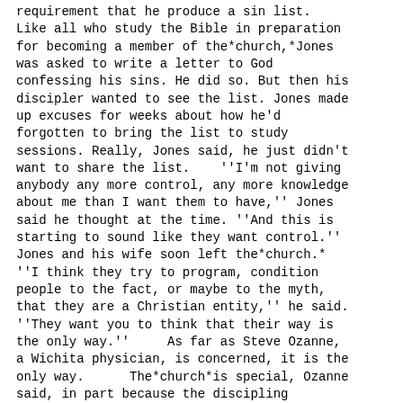requirement that he produce a sin list. Like all who study the Bible in preparation for becoming a member of the*church,*Jones was asked to write a letter to God confessing his sins. He did so. But then his discipler wanted to see the list. Jones made up excuses for weeks about how he'd forgotten to bring the list to study sessions. Really, Jones said, he just didn't want to share the list.    ''I'm not giving anybody any more control, any more knowledge about me than I want them to have,'' Jones said he thought at the time. ''And this is starting to sound like they want control.'' Jones and his wife soon left the*church.* ''I think they try to program, condition people to the fact, or maybe to the myth, that they are a Christian entity,'' he said. ''They want you to think that their way is the only way.''     As far as Steve Ozanne, a Wichita physician, is concerned, it is the only way.      The*church*is special, Ozanne said, in part because the discipling relationship helps him live out his faith. But Ozanne said he doesn't typically use the word discipling. They are close, caring